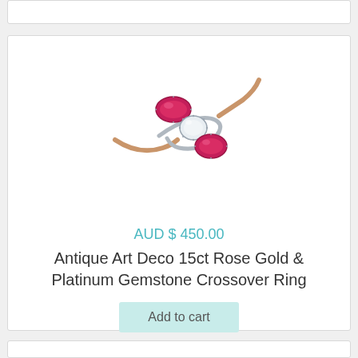[Figure (photo): Antique Art Deco 15ct Rose Gold and Platinum Gemstone Crossover Ring with two pink/red oval gemstones flanking a central round diamond, set in a crossover band.]
AUD $ 450.00
Antique Art Deco 15ct Rose Gold & Platinum Gemstone Crossover Ring
Add to cart